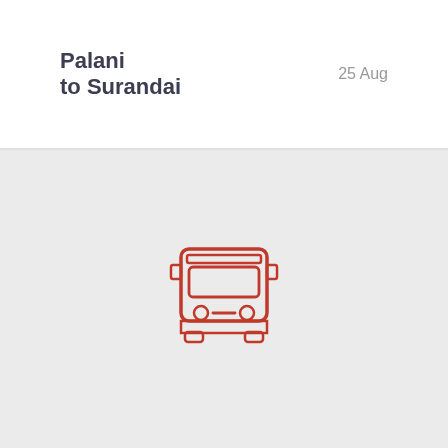Palani to Surandai
25 Aug
[Figure (illustration): Red outline icon of a bus viewed from the front, showing windshield, headlights, bumper details, and side mirrors, on a light grey background.]